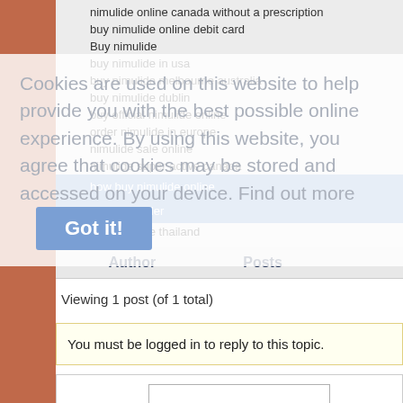nimulide online canada without a prescription
buy nimulide online debit card
Buy nimulide
buy nimulide in usa
buy nimulide melbourne australia
buy nimulide dublin
buy official nimulide online
order nimulide in europe
nimulide sale online
nimulide super active canada
how buy nimulide online
nimulide order
buy nimulide thailand
Cookies are used on this website to help provide you with the best possible online experience. By using this website, you agree that cookies may be stored and accessed on your device. Find out more
Got it!
| Author | Posts |
| --- | --- |
Viewing 1 post (of 1 total)
You must be logged in to reply to this topic.
Username: